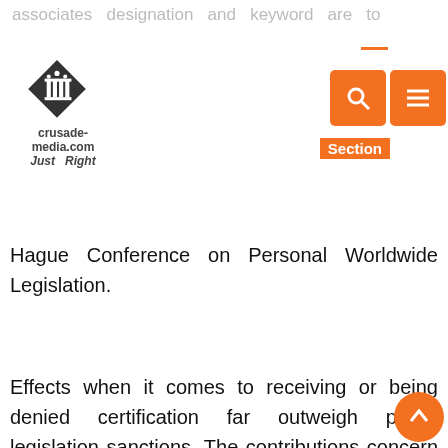crusade-media.com Just Right
associates designation and keyword are to so degree all in all and easy to remember.
public Worldwide Legislation Section serves because the Nationwide Organ to the
Hague Conference on Personal Worldwide Legislation.
Effects when it comes to receiving or being denied certification far outweigh public legislation sanctions. The contributions concern numerous areas of European private legislation, together with contract, property, company, competition and labour regulation. Personal Worldwide Law can also be embodied in treaties and conventions, mannequin legal guidelines, authorized guides, and different devices that regulate transactions.